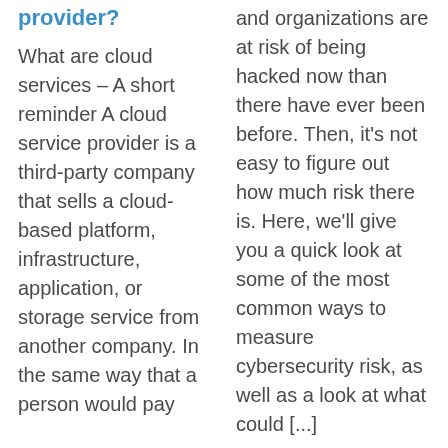provider?
What are cloud services – A short reminder A cloud service provider is a third-party company that sells a cloud-based platform, infrastructure, application, or storage service from another company. In the same way that a person would pay
and organizations are at risk of being hacked now than there have ever been before. Then, it's not easy to figure out how much risk there is. Here, we'll give you a quick look at some of the most common ways to measure cybersecurity risk, as well as a look at what could [...]